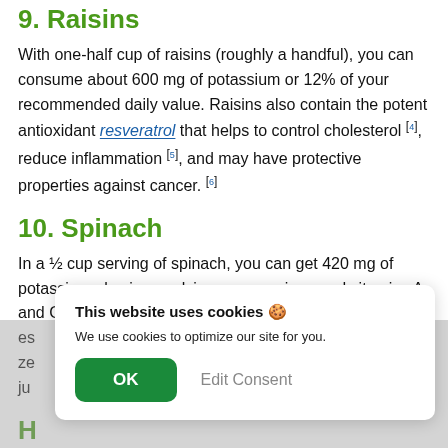9. Raisins
With one-half cup of raisins (roughly a handful), you can consume about 600 mg of potassium or 12% of your recommended daily value. Raisins also contain the potent antioxidant resveratrol that helps to control cholesterol [4], reduce inflammation [5], and may have protective properties against cancer. [6]
10. Spinach
In a ½ cup serving of spinach, you can get 420 mg of potassium plus iron, calcium, magnesium, and vitamins A and C. Spinach also contains vitamin K that plays an essential role... zeaxanthin... just...
[Figure (screenshot): Cookie consent banner overlay with title 'This website uses cookies 🍪', body text 'We use cookies to optimize our site for you.', and two buttons: 'OK' (green) and 'Edit Consent' (gray text).]